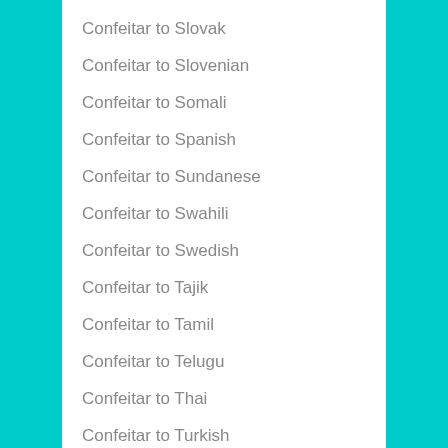Confeitar to Slovak
Confeitar to Slovenian
Confeitar to Somali
Confeitar to Spanish
Confeitar to Sundanese
Confeitar to Swahili
Confeitar to Swedish
Confeitar to Tajik
Confeitar to Tamil
Confeitar to Telugu
Confeitar to Thai
Confeitar to Turkish
Confeitar to Ukrainian
Confeitar to Urdu